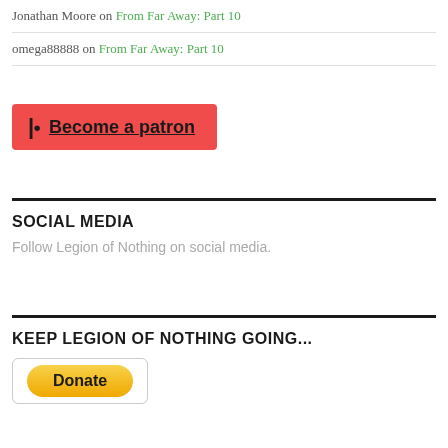Jonathan Moore on From Far Away: Part 10
omega88888 on From Far Away: Part 10
[Figure (other): Red Patreon button with 'Become a patron' text and Patreon logo icon]
SOCIAL MEDIA
Follow Legion of Nothing on social media.
KEEP LEGION OF NOTHING GOING...
[Figure (other): PayPal Donate button inside a bordered box]